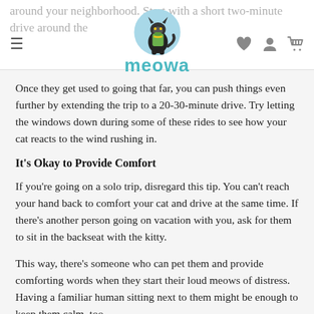around your neighborhood. Start with a short two-minute drive around the neighborhood.
Once they get used to going that far, you can push things even further by extending the trip to a 20-30-minute drive. Try letting the windows down during some of these rides to see how your cat reacts to the wind rushing in.
It's Okay to Provide Comfort
If you're going on a solo trip, disregard this tip. You can't reach your hand back to comfort your cat and drive at the same time. If there's another person going on vacation with you, ask for them to sit in the backseat with the kitty.
This way, there's someone who can pet them and provide comforting words when they start their loud meows of distress. Having a familiar human sitting next to them might be enough to keep them calm, too.